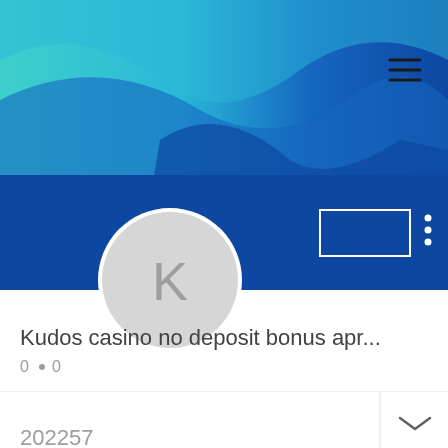[Figure (screenshot): Mobile app screenshot showing a profile page with a blue/teal abstract banner image, a circular avatar with letter K, profile title 'Kudos casino no deposit bonus apr...', stats row '0 • 0', a dropdown row with chevron, and a number 202257 at the bottom.]